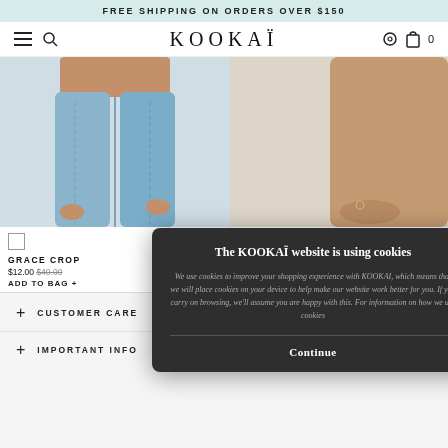FREE SHIPPING ON ORDERS OVER $150
[Figure (screenshot): KOOKAI website navbar with hamburger menu, search icon, KOOKAI logo, location pin icon, and bag icon with 0]
[Figure (photo): Two product images: left shows blue jeans (lower body), right shows a partial body/arm view on beige background]
GRACE CROP
$12.00 $40.00
ADD TO BAG +
LEIGH STRAPLES
$45.00
ADD TO BAG +
[Figure (screenshot): Cookie consent modal overlay with dark background. Title: 'The KOOKAI website is using cookies'. Body text about cookies. Continue button.]
+ CUSTOMER CARE
+ IMPORTANT INFO